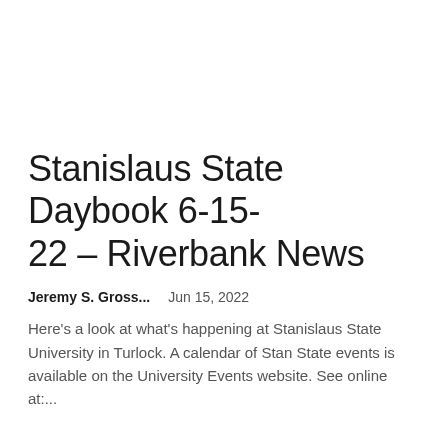Stanislaus State Daybook 6-15-22 – Riverbank News
Jeremy S. Gross...   Jun 15, 2022
Here's a look at what's happening at Stanislaus State University in Turlock. A calendar of Stan State events is available on the University Events website. See online at:...